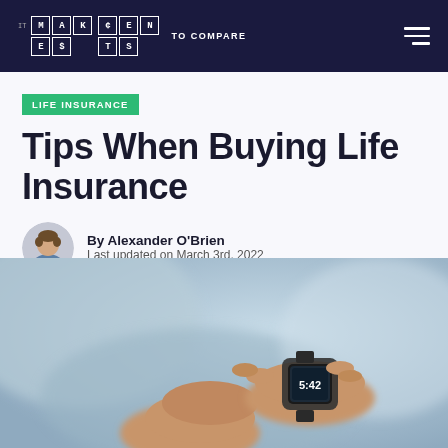IT MAKES $CENTS TO COMPARE
LIFE INSURANCE
Tips When Buying Life Insurance
By Alexander O'Brien
Last updated on March 3rd, 2022
[Figure (photo): Close-up photo of a person's hands with a smartwatch showing the time 5:42, blurred background with soft blue tones.]